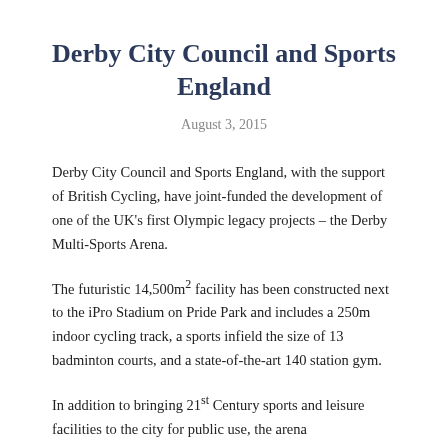Derby City Council and Sports England
August 3, 2015
Derby City Council and Sports England, with the support of British Cycling, have joint-funded the development of one of the UK's first Olympic legacy projects – the Derby Multi-Sports Arena.
The futuristic 14,500m2 facility has been constructed next to the iPro Stadium on Pride Park and includes a 250m indoor cycling track, a sports infield the size of 13 badminton courts, and a state-of-the-art 140 station gym.
In addition to bringing 21st Century sports and leisure facilities to the city for public use, the arena